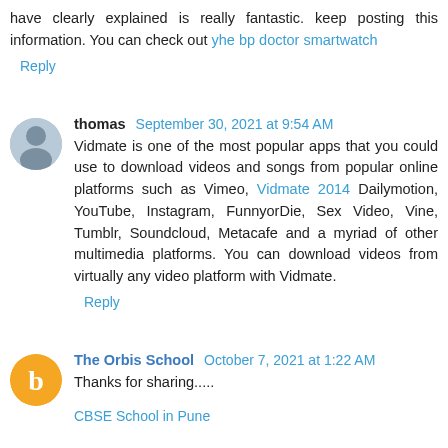have clearly explained is really fantastic. keep posting this information. You can check out yhe bp doctor smartwatch
Reply
thomas  September 30, 2021 at 9:54 AM
Vidmate is one of the most popular apps that you could use to download videos and songs from popular online platforms such as Vimeo, Vidmate 2014 Dailymotion, YouTube, Instagram, FunnyorDie, Sex Video, Vine, Tumblr, Soundcloud, Metacafe and a myriad of other multimedia platforms. You can download videos from virtually any video platform with Vidmate.
Reply
The Orbis School  October 7, 2021 at 1:22 AM
Thanks for sharing.....
CBSE School in Pune